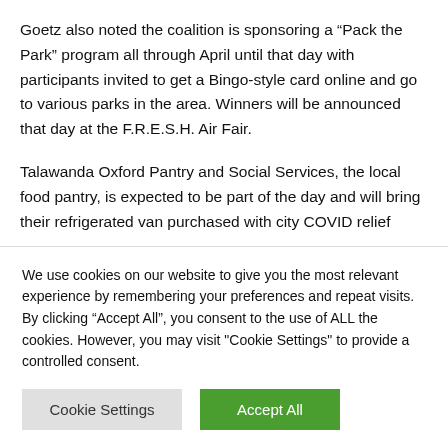Goetz also noted the coalition is sponsoring a “Pack the Park” program all through April until that day with participants invited to get a Bingo-style card online and go to various parks in the area. Winners will be announced that day at the F.R.E.S.H. Air Fair.
Talawanda Oxford Pantry and Social Services, the local food pantry, is expected to be part of the day and will bring their refrigerated van purchased with city COVID relief
We use cookies on our website to give you the most relevant experience by remembering your preferences and repeat visits. By clicking “Accept All”, you consent to the use of ALL the cookies. However, you may visit "Cookie Settings" to provide a controlled consent.